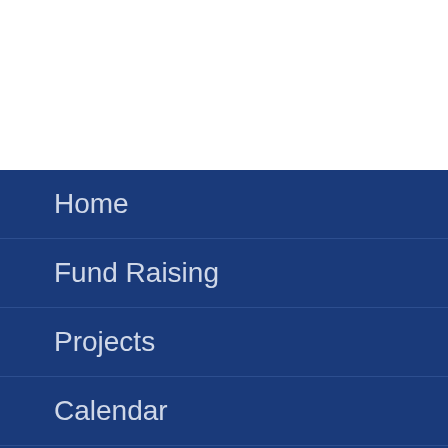Home
Fund Raising
Projects
Calendar